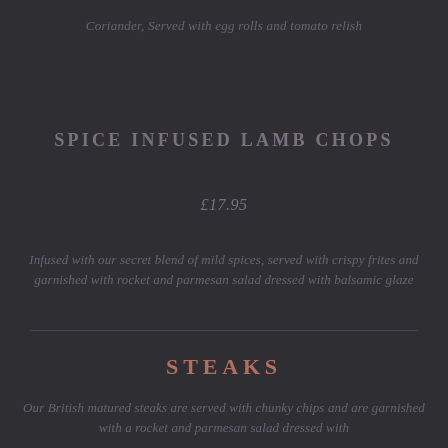Coriander, Served with egg rolls and tomato relish
SPICE INFUSED LAMB CHOPS
£17.95
Infused with our secret blend of mild spices, served with crispy frites and garnished with rocket and parmesan salad dressed with balsamic glaze
STEAKS
Our British matured steaks are served with chunky chips and are garnished with a rocket and parmesan salad dressed with